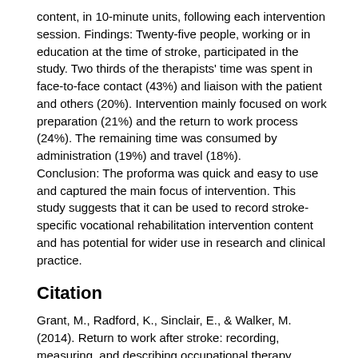content, in 10-minute units, following each intervention session. Findings: Twenty-five people, working or in education at the time of stroke, participated in the study. Two thirds of the therapists' time was spent in face-to-face contact (43%) and liaison with the patient and others (20%). Intervention mainly focused on work preparation (21%) and the return to work process (24%). The remaining time was consumed by administration (19%) and travel (18%). Conclusion: The proforma was quick and easy to use and captured the main focus of intervention. This study suggests that it can be used to record stroke-specific vocational rehabilitation intervention content and has potential for wider use in research and clinical practice.
Citation
Grant, M., Radford, K., Sinclair, E., & Walker, M. (2014). Return to work after stroke: recording, measuring, and describing occupational therapy intervention. British Journal of Occupational Therapy, 77(9), https://doi.org/10.4276/030802214X14098207541072